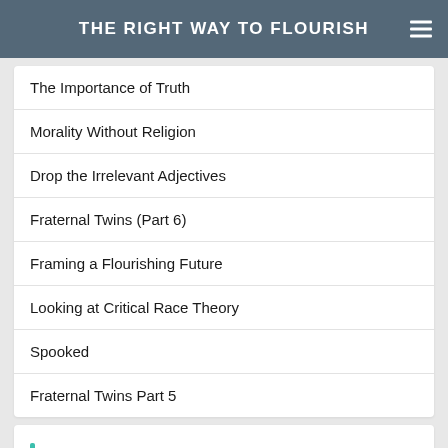THE RIGHT WAY TO FLOURISH
The Importance of Truth
Morality Without Religion
Drop the Irrelevant Adjectives
Fraternal Twins (Part 6)
Framing a Flourishing Future
Looking at Critical Race Theory
Spooked
Fraternal Twins Part 5
ARCHIVES